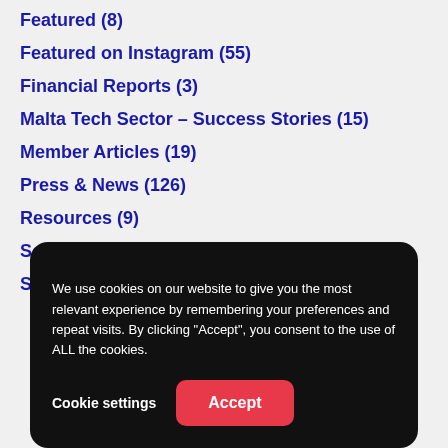Featured  (8)
Featured on Instagram  (55)
Financial Reports  (3)
Malta Tech Sector – Success Stories  (15)
Member Articles  (19)
Press & News  (126)
Resources  (9)
Social Events  (6)
Statistical Highlights  (47)
We use cookies on our website to give you the most relevant experience by remembering your preferences and repeat visits. By clicking "Accept", you consent to the use of ALL the cookies.